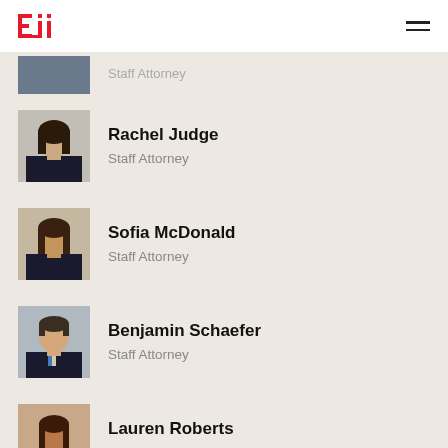EJI
Staff Attorney
Rachel Judge
Staff Attorney
Sofia McDonald
Staff Attorney
Benjamin Schaefer
Staff Attorney
Lauren Roberts
Project Counsel